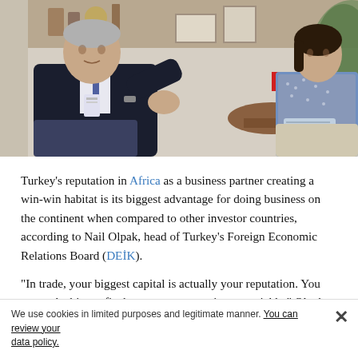[Figure (photo): Two people in a business meeting setting. A man in a dark suit on the left gestures while speaking, and a woman in a patterned blazer on the right holds a notebook. A Turkish flag and a white flag with a logo are visible on a table between them, along with indoor plants and shelving in the background.]
Turkey's reputation in Africa as a business partner creating a win-win habitat is its biggest advantage for doing business on the continent when compared to other investor countries, according to Nail Olpak, head of Turkey's Foreign Economic Relations Board (DEİK).
“In trade, your biggest capital is actually your reputation. You can make big profits but you can waste it very quickly,” Olpak
We use cookies in limited purposes and legitimate manner. You can review your data policy.